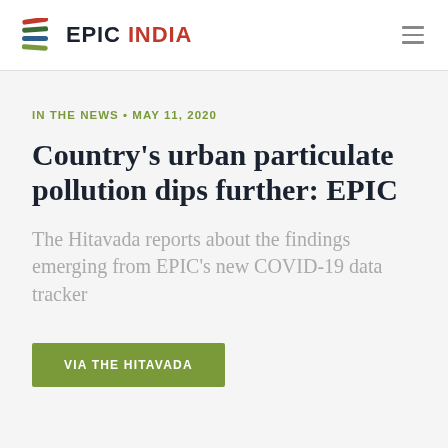EPIC INDIA
IN THE NEWS • MAY 11, 2020
Country's urban particulate pollution dips further: EPIC
The Hitavada reports about the findings emerging from EPIC's new COVID-19 data tracker
VIA THE HITAVADA